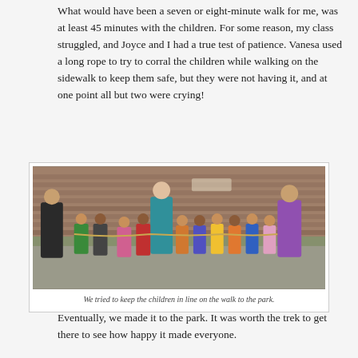What would have been a seven or eight-minute walk for me, was at least 45 minutes with the children. For some reason, my class struggled, and Joyce and I had a true test of patience. Vanesa used a long rope to try to corral the children while walking on the sidewalk to keep them safe, but they were not having it, and at one point all but two were crying!
[Figure (photo): Photo of adults and young children walking in a line on a sidewalk, with a brick wall in the background. Two adults flank a line of toddlers holding a rope.]
We tried to keep the children in line on the walk to the park.
Eventually, we made it to the park. It was worth the trek to get there to see how happy it made everyone.